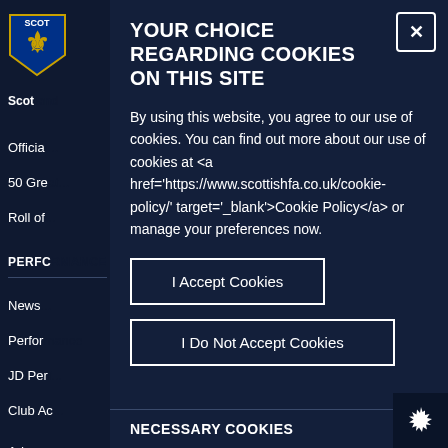[Figure (screenshot): Scottish FA website cookie consent modal dialog over a dark navy website background with sidebar navigation]
YOUR CHOICE REGARDING COOKIES ON THIS SITE
By using this website, you agree to our use of cookies. You can find out more about our use of cookies at <a href='https://www.scottishfa.co.uk/cookie-policy/' target='_blank'>Cookie Policy</a> or manage your preferences now.
I Accept Cookies
I Do Not Accept Cookies
NECESSARY COOKIES